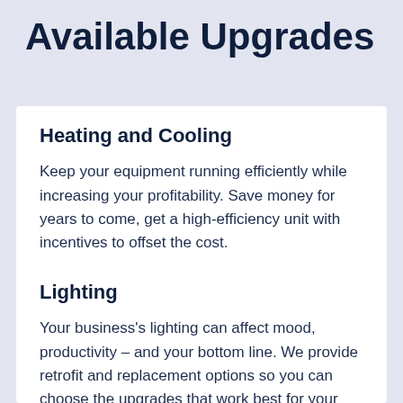Available Upgrades
Heating and Cooling
Keep your equipment running efficiently while increasing your profitability. Save money for years to come, get a high-efficiency unit with incentives to offset the cost.
Lighting
Your business's lighting can affect mood, productivity – and your bottom line. We provide retrofit and replacement options so you can choose the upgrades that work best for your space and your